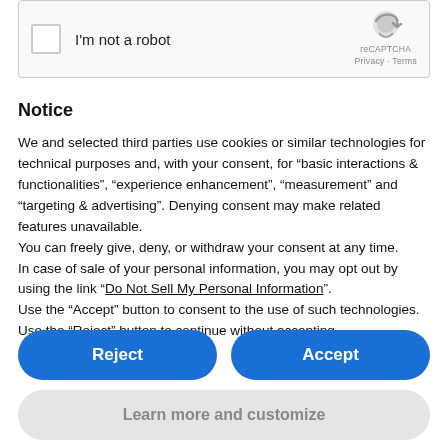[Figure (screenshot): reCAPTCHA widget showing a checkbox labeled 'I'm not a robot' with the reCAPTCHA logo, Privacy and Terms links]
Notice
We and selected third parties use cookies or similar technologies for technical purposes and, with your consent, for “basic interactions & functionalities”, “experience enhancement”, “measurement” and “targeting & advertising”. Denying consent may make related features unavailable.
You can freely give, deny, or withdraw your consent at any time.
In case of sale of your personal information, you may opt out by using the link “Do Not Sell My Personal Information”.
Use the “Accept” button to consent to the use of such technologies. Use the “Reject” button to continue without accepting.
[Figure (screenshot): Two buttons: Reject (blue, rounded) and Accept (blue, rounded)]
[Figure (screenshot): Button: Learn more and customize (gray, rounded)]